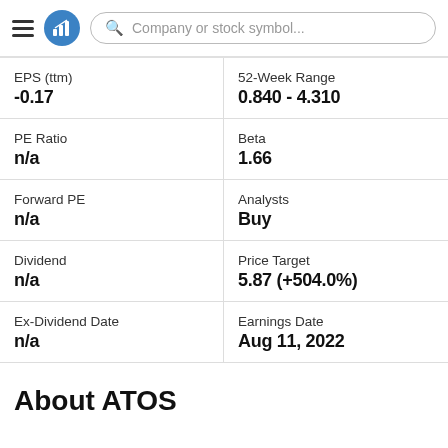[Figure (screenshot): App header with hamburger menu, blue logo icon with bar chart, and search bar reading 'Company or stock symbol...']
| Metric | Value |
| --- | --- |
| EPS (ttm) | -0.17 |
| 52-Week Range | 0.840 - 4.310 |
| PE Ratio | n/a |
| Beta | 1.66 |
| Forward PE | n/a |
| Analysts | Buy |
| Dividend | n/a |
| Price Target | 5.87 (+504.0%) |
| Ex-Dividend Date | n/a |
| Earnings Date | Aug 11, 2022 |
About ATOS